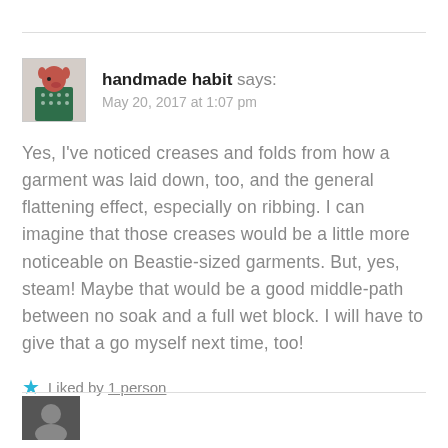[Figure (photo): Avatar image of a deer/animal figure wearing a knitted sweater]
handmade habit says:
May 20, 2017 at 1:07 pm
Yes, I've noticed creases and folds from how a garment was laid down, too, and the general flattening effect, especially on ribbing. I can imagine that those creases would be a little more noticeable on Beastie-sized garments. But, yes, steam! Maybe that would be a good middle-path between no soak and a full wet block. I will have to give that a go myself next time, too!
★ Liked by 1 person